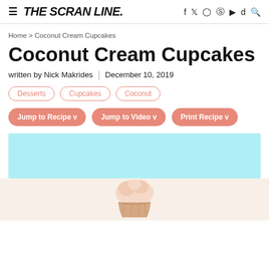THE SCRAN LINE. | f twitter instagram pinterest youtube tiktok search
Home > Coconut Cream Cupcakes
Coconut Cream Cupcakes
written by Nick Makrides  |  December 10, 2019
Desserts
Cupcakes
Coconut
Jump to Recipe v
Jump to Video v
Print Recipe v
[Figure (photo): Light cyan/turquoise background rectangle with a coconut cream cupcake photo partially visible at the bottom]